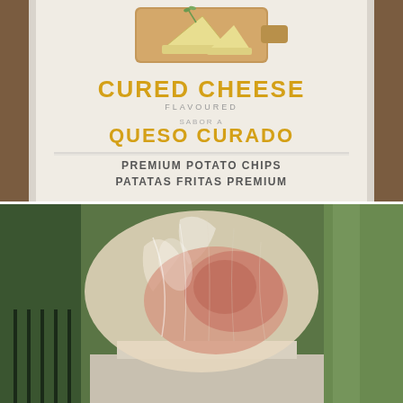[Figure (photo): Photo of a white premium potato chips bag labeled 'Cured Cheese Flavoured / Sabor a Queso Curado / Premium Potato Chips / Patatas Fritas Premium' with a cheese and wooden board illustration on top. Bag sits on a brown wooden table.]
[Figure (photo): Photo of a vacuum-sealed transparent plastic package containing what appears to be cured ham/meat, photographed outdoors on a balcony with greenery visible in the background.]